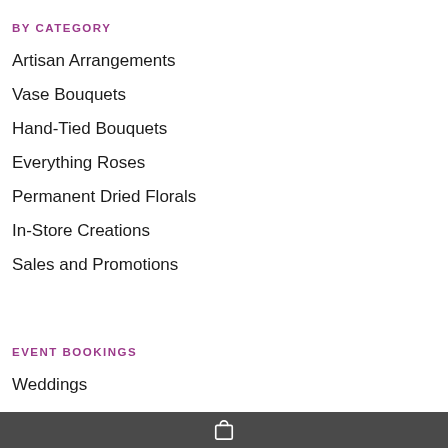BY CATEGORY
Artisan Arrangements
Vase Bouquets
Hand-Tied Bouquets
Everything Roses
Permanent Dried Florals
In-Store Creations
Sales and Promotions
EVENT BOOKINGS
Weddings